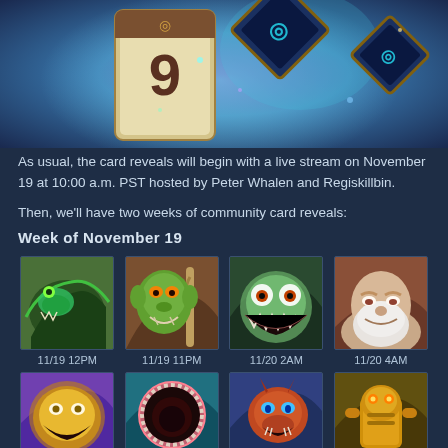[Figure (illustration): Hearthstone expansion card reveal promotional image with fantasy card art, showing a calendar card with number 9 and decorative card backs on a colorful magical background]
As usual, the card reveals will begin with a live stream on November 19 at 10:00 a.m. PST hosted by Peter Whalen and Regiskillbin.
Then, we'll have two weeks of community card reveals:
Week of November 19
[Figure (illustration): Grid of Hearthstone card art images with timestamps. Row 1: four monster/creature card arts labeled 11/19 12PM, 11/19 11PM, 11/20 2AM, 11/20 4AM. Row 2 (partial): four more card arts visible at bottom.]